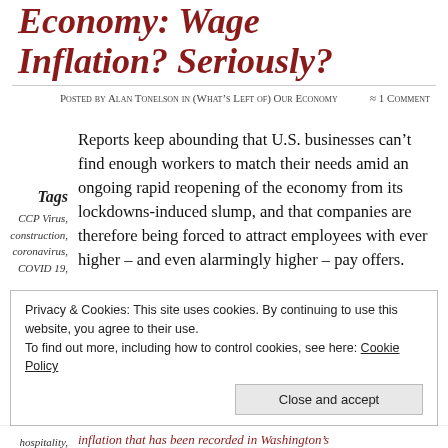Economy: Wage Inflation? Seriously?
Posted by Alan Tonelson in (What's Left of) Our Economy ≈ 1 Comment
Tags
CCP Virus,
construction,
coronavirus,
COVID 19,
Reports keep abounding that U.S. businesses can't find enough workers to match their needs amid an ongoing rapid reopening of the economy from its lockdowns-induced slump, and that companies are therefore being forced to attract employees with ever higher – and even alarmingly higher – pay offers.
Privacy & Cookies: This site uses cookies. By continuing to use this website, you agree to their use.
To find out more, including how to control cookies, see here: Cookie Policy
Close and accept
hospitality, inflation that has been recorded in Washington's